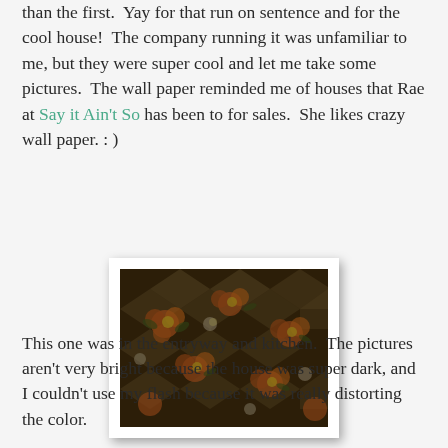than the first.  Yay for that run on sentence and for the cool house!  The company running it was unfamiliar to me, but they were super cool and let me take some pictures.  The wall paper reminded me of houses that Rae at Say it Ain't So has been to for sales.  She likes crazy wall paper. : )
[Figure (photo): A photograph of vintage floral wallpaper with orange, yellow, and green flower patterns on a white/cream lattice background, displayed in a white frame with drop shadow.]
This one was in the entryway and kitchen.  The pictures aren't very bright because the house was super dark, and I couldn't use my flash because it was really distorting the color.